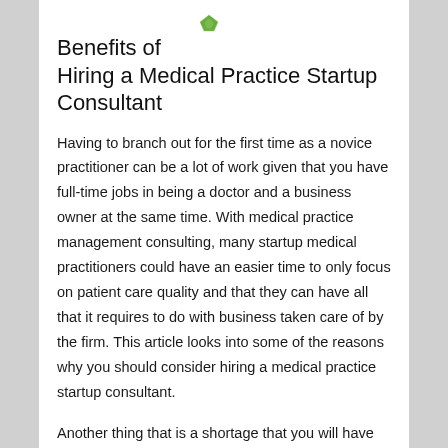[Figure (logo): Small green leaf/plant logo icon]
Benefits of
Hiring a Medical Practice Startup Consultant
Having to branch out for the first time as a novice practitioner can be a lot of work given that you have full-time jobs in being a doctor and a business owner at the same time. With medical practice management consulting, many startup medical practitioners could have an easier time to only focus on patient care quality and that they can have all that it requires to do with business taken care of by the firm. This article looks into some of the reasons why you should consider hiring a medical practice startup consultant.
Another thing that is a shortage that you will have boosted levels of office efficiency by employing a